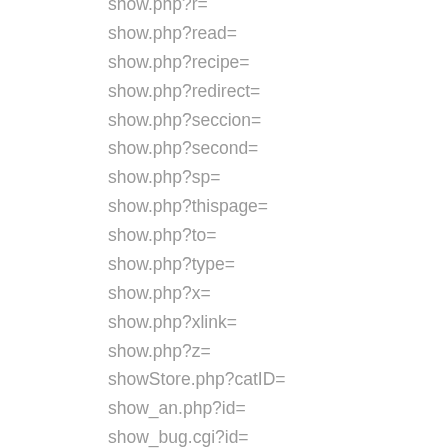show.php?r=
show.php?read=
show.php?recipe=
show.php?redirect=
show.php?seccion=
show.php?second=
show.php?sp=
show.php?thispage=
show.php?to=
show.php?type=
show.php?x=
show.php?xlink=
show.php?z=
showStore.php?catID=
show_an.php?id=
show_bug.cgi?id=
show_item.php?id=
show_item_details.php?item_id=